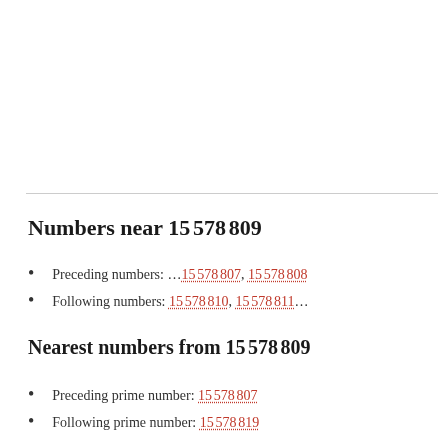Numbers near 15 578 809
Preceding numbers: …15 578 807, 15 578 808
Following numbers: 15 578 810, 15 578 811…
Nearest numbers from 15 578 809
Preceding prime number: 15 578 807
Following prime number: 15 578 819